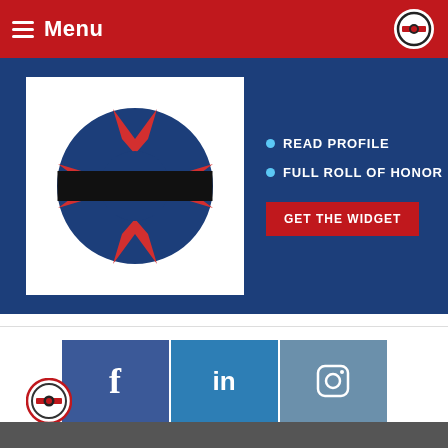Menu
[Figure (screenshot): Fire department memorial badge with black mourning bar, on blue background with 'READ PROFILE', 'FULL ROLL OF HONOR' links and 'GET THE WIDGET' button]
[Figure (infographic): Social media icons row: Facebook (f), LinkedIn (in), Instagram (camera icon)]
[Figure (logo): Site logo circular emblem at bottom left]